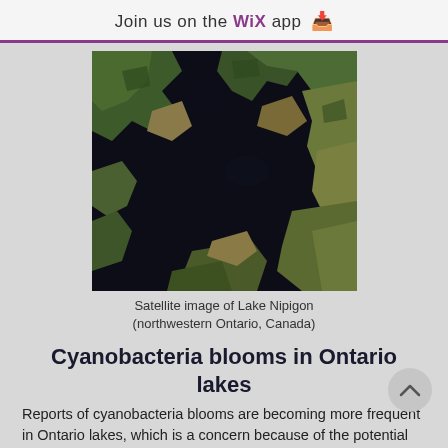Join us on the WiX app ↓
[Figure (photo): Satellite image of Lake Nipigon showing dark water surrounded by green and brown land masses from above]
Satellite image of Lake Nipigon (northwestern Ontario, Canada)
Cyanobacteria blooms in Ontario lakes
Reports of cyanobacteria blooms are becoming more frequent in Ontario lakes, which is a concern because of the potential for cyanobacteria to produce toxins. Traditionally, nutrients have been considered the primary cause of cyanobacteria blooms: